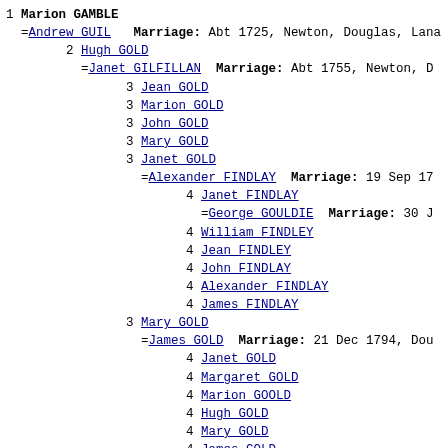1 Marion GAMBLE
=Andrew GUIL   Marriage: Abt 1725, Newton, Douglas, Lana
2 Hugh GOLD
=Janet GILFILLAN   Marriage: Abt 1755, Newton, D
3 Jean GOLD
3 Marion GOLD
3 John GOLD
3 Mary GOLD
3 Janet GOLD
=Alexander FINDLAY   Marriage: 19 Sep 17
4 Janet FINDLAY
=George GOULDIE   Marriage: 30 J
4 William FINDLEY
4 Jean FINDLEY
4 John FINDLAY
4 Alexander FINDLAY
4 James FINDLAY
3 Mary GOLD
=James GOLD   Marriage: 21 Dec 1794, Dou
4 Janet GOLD
4 Margaret GOLD
4 Marion GOOLD
4 Hugh GOLD
4 Mary GOLD
4 James GOLD
4 Hugh GOOLD
4 Alexander GOLD
4 John GOLD
4 James GOLD